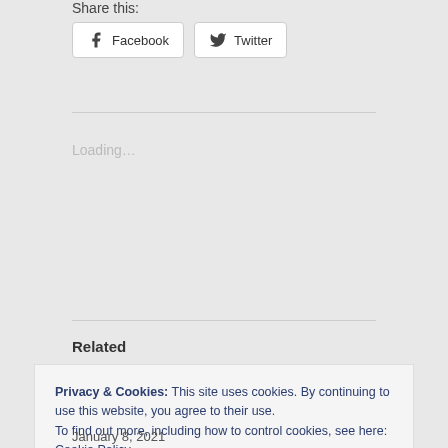Share this:
Facebook  Twitter
Loading...
Related
Privacy & Cookies: This site uses cookies. By continuing to use this website, you agree to their use.
To find out more, including how to control cookies, see here: Cookie Policy
Close and accept
January 8, 2021